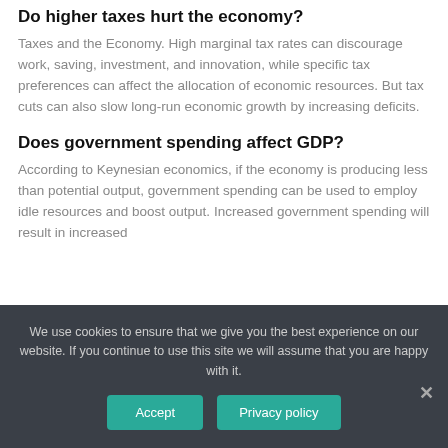Do higher taxes hurt the economy?
Taxes and the Economy. High marginal tax rates can discourage work, saving, investment, and innovation, while specific tax preferences can affect the allocation of economic resources. But tax cuts can also slow long-run economic growth by increasing deficits.
Does government spending affect GDP?
According to Keynesian economics, if the economy is producing less than potential output, government spending can be used to employ idle resources and boost output. Increased government spending will result in increased
We use cookies to ensure that we give you the best experience on our website. If you continue to use this site we will assume that you are happy with it.
Accept
Privacy policy